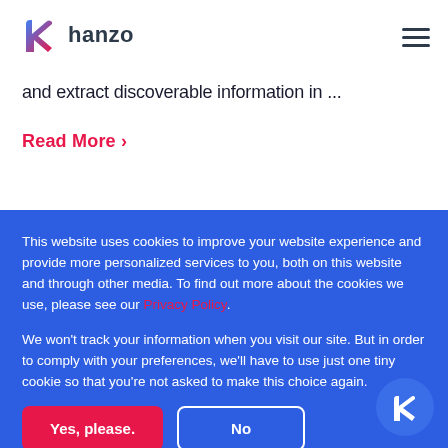[Figure (logo): Hanzo logo with stylized 'h' icon in blue/pink gradient and 'hanzo' text in dark color]
and extract discoverable information in ...
Read More ›
This website uses cookies to improve your website experience and provide more personalized services to you, both on this website and through other media. To find out more about the cookies we use, please see our Privacy Policy.
We won't track your information when you visit our site. But in order to comply with your preferences, we'll have to use just one tiny cookie so that you're not asked to make this choice again.
Yes, please.
No